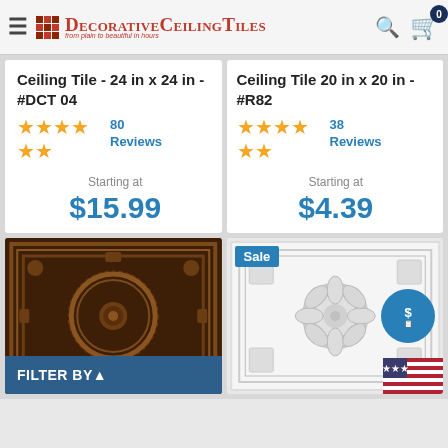DecorativeCeilingTiles - from plain to beautiful in hours
Ceiling Tile - 24 in x 24 in - #DCT 04
★★★★★ 80 Reviews
Starting at
$15.99
Ceiling Tile 20 in x 20 in - #R82
★★★★★ 38 Reviews
Starting at
$4.39
[Figure (photo): Dark bronze/copper decorative ceiling tile with ornate circular wreath and floral center medallion pattern]
[Figure (photo): White embossed decorative ceiling tile with floral/scroll pattern, Sale badge in top left, price badge icon on right]